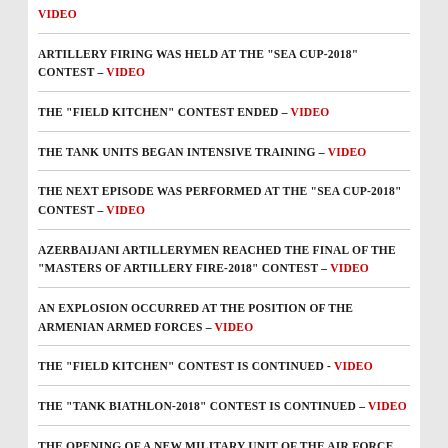VIDEO (partial, top of page)
ARTILLERY FIRING WAS HELD AT THE "SEA CUP-2018" CONTEST – VIDEO
THE "FIELD KITCHEN" CONTEST ENDED – VIDEO
THE TANK UNITS BEGAN INTENSIVE TRAINING – VIDEO
THE NEXT EPISODE WAS PERFORMED AT THE "SEA CUP-2018" CONTEST – VIDEO
AZERBAIJANI ARTILLERYMEN REACHED THE FINAL OF THE "MASTERS OF ARTILLERY FIRE-2018" CONTEST – VIDEO
AN EXPLOSION OCCURRED AT THE POSITION OF THE ARMENIAN ARMED FORCES – VIDEO
THE "FIELD KITCHEN" CONTEST IS CONTINUED - VIDEO
THE "TANK BIATHLON-2018" CONTEST IS CONTINUED – VIDEO
THE OPENING OF A NEW MILITARY UNIT OF THE AIR FORCE TOOK PLACE IN THE FRONTLINE ZONE - VIDEO